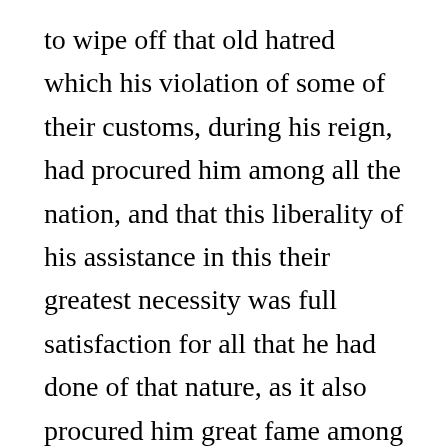to wipe off that old hatred which his violation of some of their customs, during his reign, had procured him among all the nation, and that this liberality of his assistance in this their greatest necessity was full satisfaction for all that he had done of that nature, as it also procured him great fame among foreigners; and it looked as if these calamities that afflicted his land, to a degree plainly incredible, came in order to raise his glory, and to be to his great advantage; for the greatness of his liberality in these distresses, which he now demonstrated beyond all expectation, did so change the disposition of the multitude towards him, that he was regarded beyond all expectation...